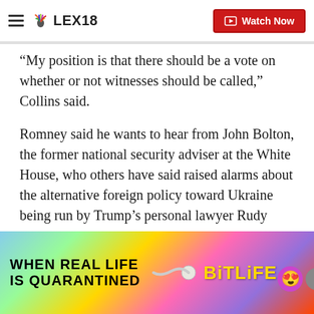LEX18
“My position is that there should be a vote on whether or not witnesses should be called,” Collins said.
Romney said he wants to hear from John Bolton, the former national security adviser at the White House, who others have said raised alarms about the alternative foreign policy toward Ukraine being run by Trump’s personal lawyer Rudy Giuliani.
Democrats have been pushing Republicans, who have a slim Senate majority, to consider new testimony,
[Figure (screenshot): BitLife advertisement banner: colorful rainbow gradient background with text 'WHEN REAL LIFE IS QUARANTINED' on the left, a sperm emoji graphic in the center, BitLife logo text in yellow, and cartoon emoji characters (star-eyes, question mark, X button, fist) on the right.]